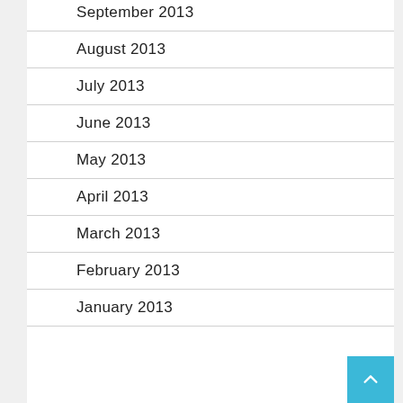September 2013
August 2013
July 2013
June 2013
May 2013
April 2013
March 2013
February 2013
January 2013